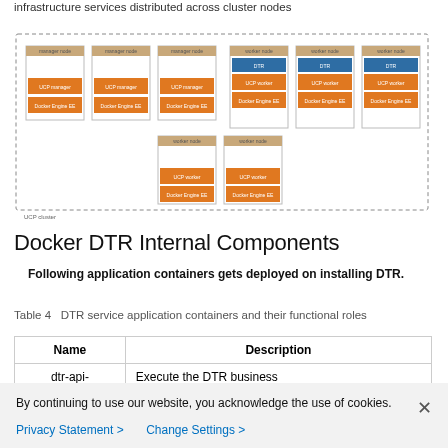Figure 12  Highly Available Docker EE architecture showing infrastructure services distributed across cluster nodes
[Figure (engineering-diagram): Diagram showing a highly available Docker EE cluster with manager nodes and worker nodes. Manager nodes have UCP manager and Docker Engine EE. Worker/DTR nodes have DTR, UCP worker, and Docker Engine EE components. Nodes are grouped inside a dashed border labeled UCP cluster.]
Docker DTR Internal Components
Following application containers gets deployed on installing DTR.
Table 4   DTR service application containers and their functional roles
| Name | Description |
| --- | --- |
| dtr-api- | Execute the DTR business |
By continuing to use our website, you acknowledge the use of cookies.
Privacy Statement >   Change Settings >